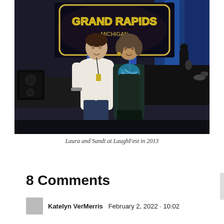[Figure (photo): Two women posing together indoors at what appears to be an event venue. In the background is a neon sign reading 'Grand Rapids Michigan' styled like a Las Vegas welcome sign, blue stage lighting, and a musician on stage. The woman on the left wears a white knit sweater; the woman on the right wears a dark jacket with a colorful patterned scarf.]
Laura and Sandi at LaughFest in 2013
8 Comments
Katelyn VerMerris   February 2, 2022 · 10:02